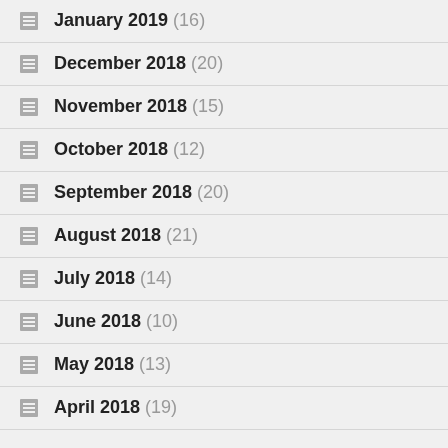January 2019 (16)
December 2018 (20)
November 2018 (15)
October 2018 (12)
September 2018 (20)
August 2018 (21)
July 2018 (14)
June 2018 (10)
May 2018 (13)
April 2018 (19)